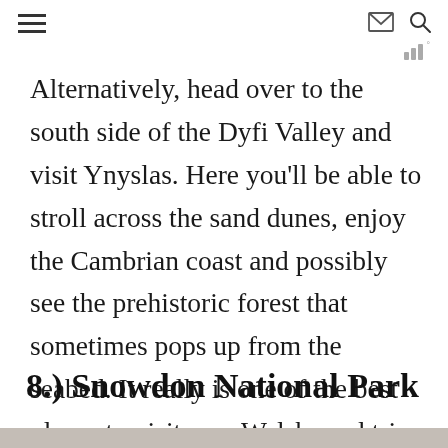≡  ✉  🔍  weather widget
Alternatively, head over to the south side of the Dyfi Valley and visit Ynyslas. Here you'll be able to stroll across the sand dunes, enjoy the Cambrian coast and possibly see the prehistoric forest that sometimes pops up from the seabed. It really is one of the best places to visit on a Welsh road trip.
8.) Snowdon National Park